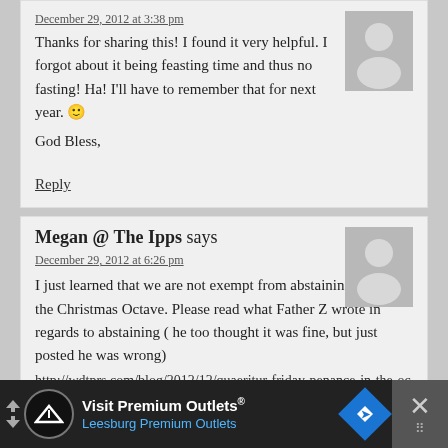December 29, 2012 at 3:38 pm
Thanks for sharing this! I found it very helpful. I forgot about it being feasting time and thus no fasting! Ha! I'll have to remember that for next year. 🙂
God Bless,
Reply
Megan @ The Ipps says
December 29, 2012 at 6:26 pm
I just learned that we are not exempt from abstaining during the Christmas Octave. Please read what Father Z wrote in regards to abstaining ( he too thought it was fine, but just posted he was wrong)
http://wdtprs.com/blog/2012/12/quaeritur-friday-penance-in-the-octave-of-christmas-revisited/?
[Figure (screenshot): Advertisement banner for Visit Premium Outlets - Leesburg Premium Outlets with logo, blue arrow direction sign, and close button]